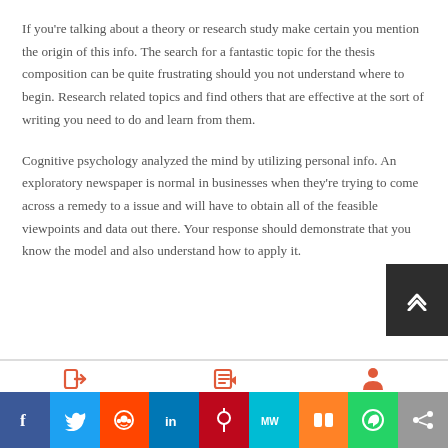If you're talking about a theory or research study make certain you mention the origin of this info. The search for a fantastic topic for the thesis composition can be quite frustrating should you not understand where to begin. Research related topics and find others that are effective at the sort of writing you need to do and learn from them.
Cognitive psychology analyzed the mind by utilizing personal info. An exploratory newspaper is normal in businesses when they're trying to come across a remedy to a issue and will have to obtain all of the feasible viewpoints and data out there. Your response should demonstrate that you know the model and also understand how to apply it.
[Figure (infographic): Social media share bar with icons: Facebook, Twitter, Reddit, LinkedIn, Pinterest, MeWe, Mix, WhatsApp, Share]